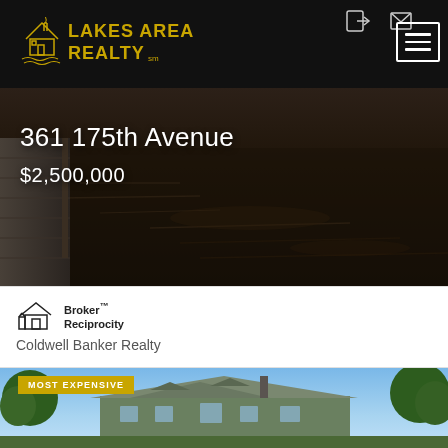Lakes Area Realty
[Figure (photo): Aerial/water-level photo of a lake dock with dark water in the background, serving as hero image for 361 175th Avenue listing]
361 175th Avenue
$2,500,000
[Figure (logo): Broker Reciprocity house logo icon]
Broker™ Reciprocity
Coldwell Banker Realty
[Figure (photo): Photo of a large lakeside house with trees, tagged as MOST EXPENSIVE listing]
MOST EXPENSIVE